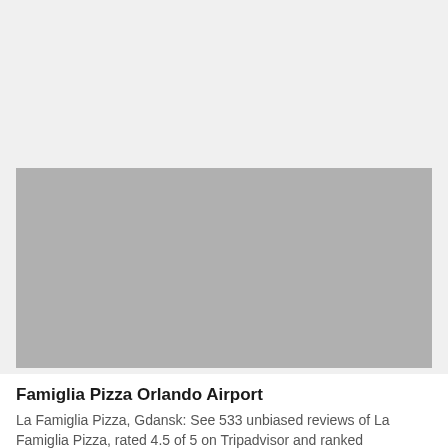[Figure (photo): Gray placeholder image rectangle for Famiglia Pizza Orlando Airport]
Famiglia Pizza Orlando Airport
La Famiglia Pizza, Gdansk: See 533 unbiased reviews of La Famiglia Pizza, rated 4.5 of 5 on Tripadvisor and ranked